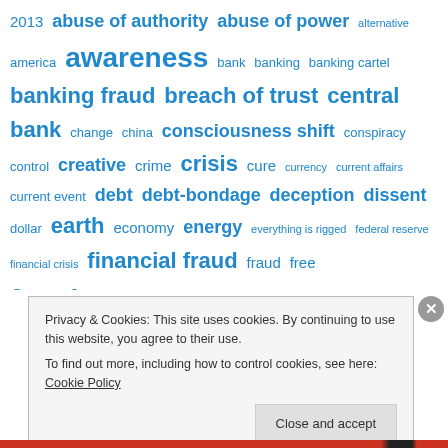[Figure (infographic): Tag cloud with blue terms related to finance, banking, fraud, freedom, and related topics. Terms displayed in varying font sizes indicating frequency/importance.]
Privacy & Cookies: This site uses cookies. By continuing to use this website, you agree to their use.
To find out more, including how to control cookies, see here: Cookie Policy
Close and accept